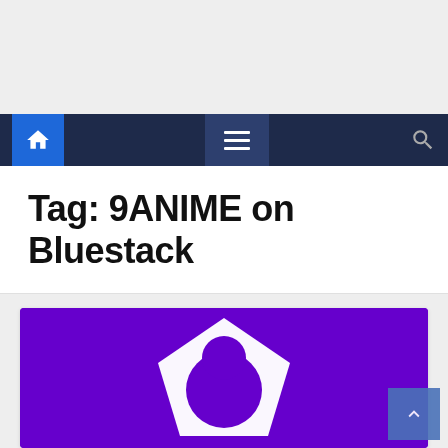[Figure (screenshot): Advertisement/banner area with light gray background]
Navigation bar with home icon, hamburger menu, and search icon
Tag: 9ANIME on Bluestack
[Figure (illustration): White abstract logo/icon on a purple/violet background, partially cropped at the bottom of the page]